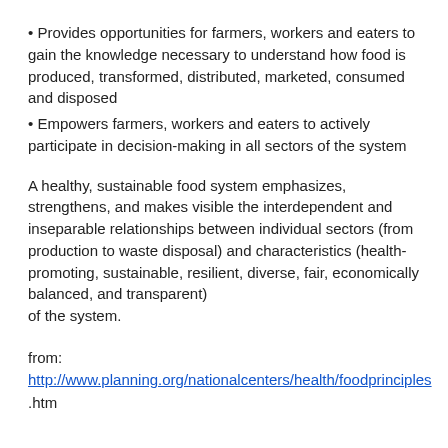• Provides opportunities for farmers, workers and eaters to gain the knowledge necessary to understand how food is produced, transformed, distributed, marketed, consumed and disposed
• Empowers farmers, workers and eaters to actively participate in decision-making in all sectors of the system
A healthy, sustainable food system emphasizes, strengthens, and makes visible the interdependent and inseparable relationships between individual sectors (from production to waste disposal) and characteristics (health-promoting, sustainable, resilient, diverse, fair, economically balanced, and transparent) of the system.
from:
http://www.planning.org/nationalcenters/health/foodprinciples.htm